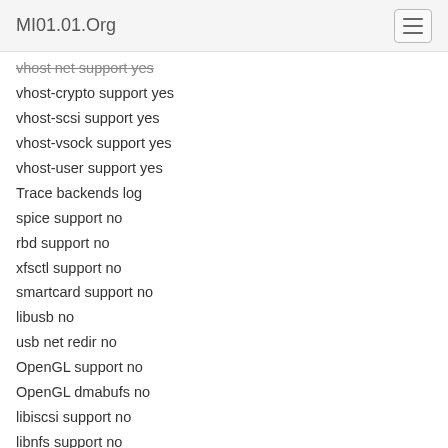MI01.01.Org
vhost net support yes
vhost-crypto support yes
vhost-scsi support yes
vhost-vsock support yes
vhost-user support yes
Trace backends log
spice support no
rbd support no
xfsctl support no
smartcard support no
libusb no
usb net redir no
OpenGL support no
OpenGL dmabufs no
libiscsi support no
libnfs support no
build guest agent yes
QGA VSS support no
QGA w32 disk info no
QGA MSI support no